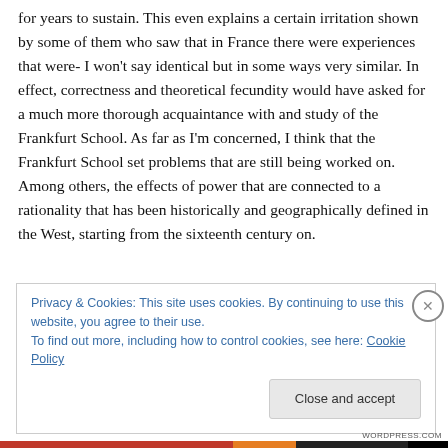for years to sustain. This even explains a certain irritation shown by some of them who saw that in France there were experiences that were- I won't say identical but in some ways very similar. In effect, correctness and theoretical fecundity would have asked for a much more thorough acquaintance with and study of the Frankfurt School. As far as I'm concerned, I think that the Frankfurt School set problems that are still being worked on. Among others, the effects of power that are connected to a rationality that has been historically and geographically defined in the West, starting from the sixteenth century on.
Privacy & Cookies: This site uses cookies. By continuing to use this website, you agree to their use.
To find out more, including how to control cookies, see here: Cookie Policy
Close and accept